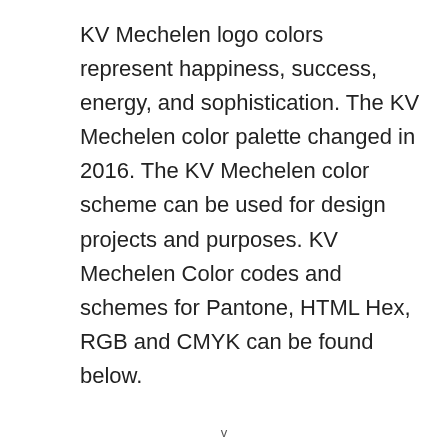KV Mechelen logo colors represent happiness, success, energy, and sophistication. The KV Mechelen color palette changed in 2016. The KV Mechelen color scheme can be used for design projects and purposes. KV Mechelen Color codes and schemes for Pantone, HTML Hex, RGB and CMYK can be found below.
v